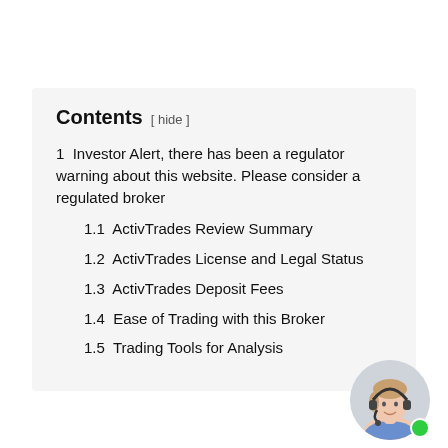Contents [ hide ]
1 Investor Alert, there has been a regulator warning about this website. Please consider a regulated broker
1.1 ActivTrades Review Summary
1.2 ActivTrades License and Legal Status
1.3 ActivTrades Deposit Fees
1.4 Ease of Trading with this Broker
1.5 Trading Tools for Analysis
[Figure (photo): Customer support agent avatar photo with green online status dot]